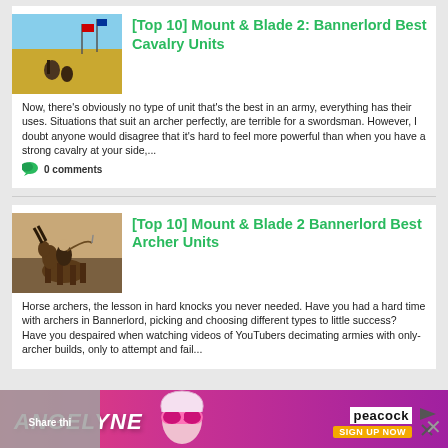[Figure (photo): Battle scene with soldiers on horseback in a field with flags]
[Top 10] Mount & Blade 2: Bannerlord Best Cavalry Units
Now, there's obviously no type of unit that's the best in an army, everything has their uses. Situations that suit an archer perfectly, are terrible for a swordsman. However, I doubt anyone would disagree that it's hard to feel more powerful than when you have a strong cavalry at your side,...
0 comments
[Figure (photo): Horse archer on horseback drawing a bow]
[Top 10] Mount & Blade 2 Bannerlord Best Archer Units
Horse archers, the lesson in hard knocks you never needed. Have you had a hard time with archers in Bannerlord, picking and choosing different types to little success?  Have you despaired when watching videos of YouTubers decimating armies with only-archer builds, only to attempt and fail...
[Figure (photo): Angelyne TV show advertisement with peacock logo - Sign Up Now]